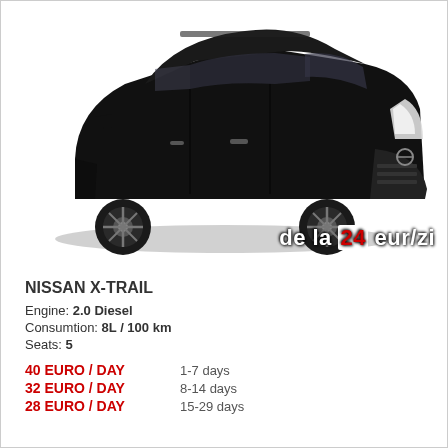[Figure (photo): Black Nissan X-Trail SUV shown from front-left angle with text overlay 'de la 24 eur/zi' in white and red on the lower right of the image]
NISSAN X-TRAIL
Engine: 2.0 Diesel
Consumtion: 8L / 100 km
Seats: 5
40 EURO / DAY   1-7 days
32 EURO / DAY   8-14 days
28 EURO / DAY   15-29 days